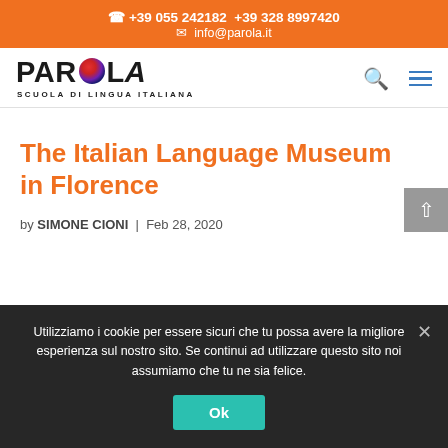📞 +39 055 242182 +39 328 8997420 ✉ info@parola.it
[Figure (logo): PAROLA - Scuola di Lingua Italiana logo with colorful sphere replacing the letter O]
The Italian Language Museum in Florence
by SIMONE CIONI | Feb 28, 2020
Utilizziamo i cookie per essere sicuri che tu possa avere la migliore esperienza sul nostro sito. Se continui ad utilizzare questo sito noi assumiamo che tu ne sia felice.